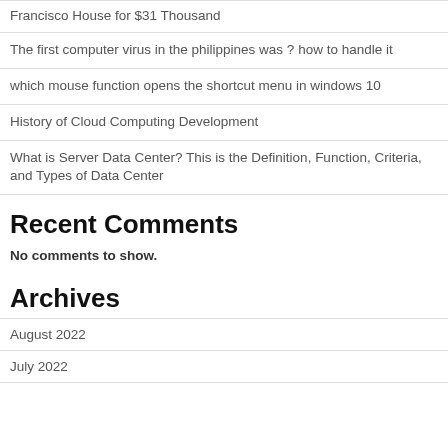Francisco House for $31 Thousand
The first computer virus in the philippines was ? how to handle it
which mouse function opens the shortcut menu in windows 10
History of Cloud Computing Development
What is Server Data Center? This is the Definition, Function, Criteria, and Types of Data Center
Recent Comments
No comments to show.
Archives
August 2022
July 2022